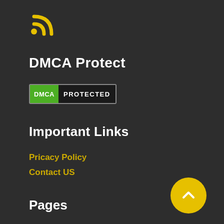[Figure (logo): Yellow RSS feed icon]
DMCA Protect
[Figure (logo): DMCA Protected badge with green DMCA label and dark PROTECTED text]
Important Links
Pricacy Policy
Contact US
[Figure (other): Yellow circular back-to-top button with upward chevron arrow]
Pages
About US
Contact us